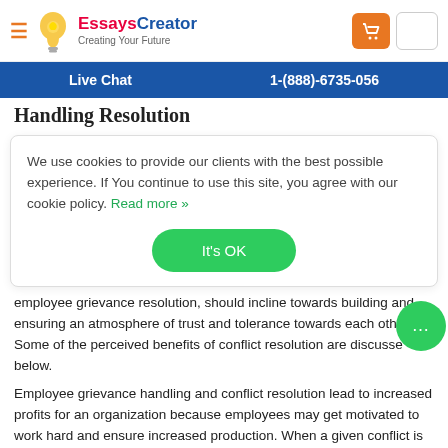EssaysCreator — Creating Your Future
Live Chat   1-(888)-6735-056
Handling Resolution
We use cookies to provide our clients with the best possible experience. If You continue to use this site, you agree with our cookie policy. Read more »
employee grievance resolution, should incline towards building and ensuring an atmosphere of trust and tolerance towards each other. Some of the perceived benefits of conflict resolution are discussed below.
Employee grievance handling and conflict resolution lead to increased profits for an organization because employees may get motivated to work hard and ensure increased production. When a given conflict is resolved amicably, there is the possibility that teamwork may be built